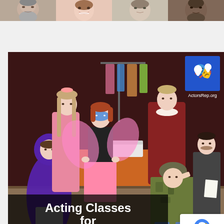[Figure (photo): Strip of four adult portrait headshots at the top of the page]
[Figure (photo): Group photo of youth and teen actors in costumes in a backstage setting with the ActorsRep.org logo and text overlay 'Acting Classes for Youth and Teens']